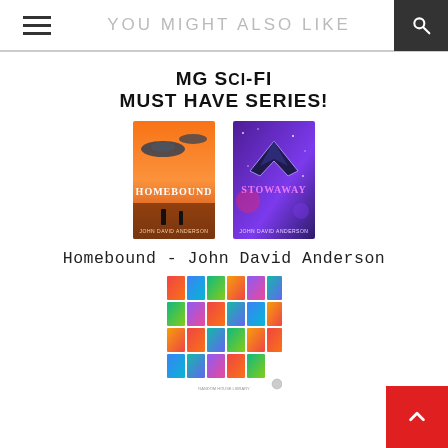YOU MIGHT ALSO LIKE
MG SCI-FI
MUST HAVE SERIES!
[Figure (photo): Two book covers side by side: 'Homebound' by John David Anderson (orange/warm sci-fi cover with UFOs) and 'Stowaway' by John David Anderson (purple neon sci-fi cover with spaceship)]
Homebound - John David Anderson
[Figure (photo): A grid collage of multiple colorful book covers arranged in rows]